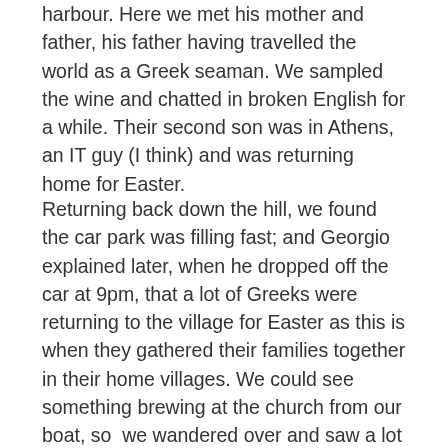harbour. Here we met his mother and father, his father having travelled the world as a Greek seaman. We sampled the wine and chatted in broken English for a while. Their second son was in Athens, an IT guy (I think) and was returning home for Easter.
Returning back down the hill, we found the car park was filling fast; and Georgio explained later, when he dropped off the car at 9pm, that a lot of Greeks were returning to the village for Easter as this is when they gathered their families together in their home villages. We could see something brewing at the church from our boat, so  we wandered over and saw a lot of well dressed people gathering around – from Athens I guess. Then the procession started, lead by a